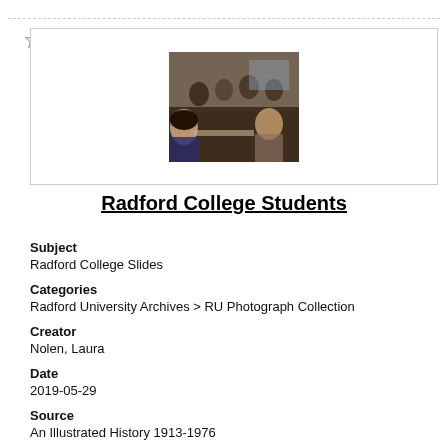[Figure (photo): Photograph of students in a classroom at Radford College, seated at desks, viewed from behind and side angles.]
Radford College Students
Subject
Radford College Slides
Categories
Radford University Archives > RU Photograph Collection
Creator
Nolen, Laura
Date
2019-05-29
Source
An Illustrated History 1913-1976